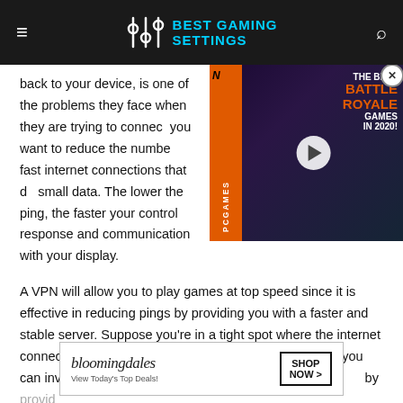BEST GAMING SETTINGS
back to your device, is one of the problems they face when they are trying to connect you want to reduce the number of fast internet connections that do small data. The lower the ping, the faster your control response and communication with your display.
[Figure (screenshot): PCGamesN video ad overlay showing 'THE BEST BATTLE ROYALE GAMES IN 2020!' with a play button and game character]
A VPN will allow you to play games at top speed since it is effective in reducing pings by providing you with a faster and stable server. Suppose you're in a tight spot where the internet connection isn't stable and strong enough. In that case, you can invest in a solid VPN service by providing
[Figure (screenshot): Bloomingdale's advertisement banner: 'View Today's Top Deals!' with SHOP NOW button]